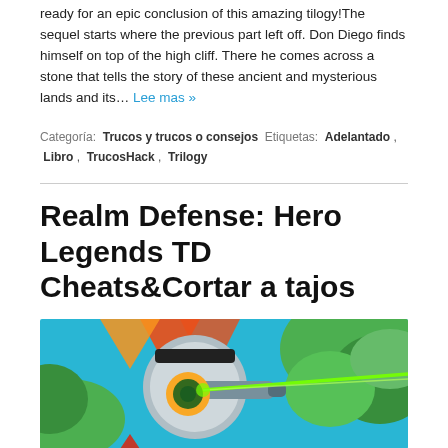ready for an epic conclusion of this amazing tilogy!The sequel starts where the previous part left off. Don Diego finds himself on top of the high cliff. There he comes across a stone that tells the story of these ancient and mysterious lands and its… Lee mas »
Categoría: Trucos y trucos o consejos  Etiquetas: Adelantado , Libro , TrucosHack , Trilogy
Realm Defense: Hero Legends TD Cheats&Cortar a tajos
[Figure (illustration): Colorful game artwork showing a robot/cannon character with a green laser eye, surrounded by green foliage and orange/red explosion effects on a blue background.]